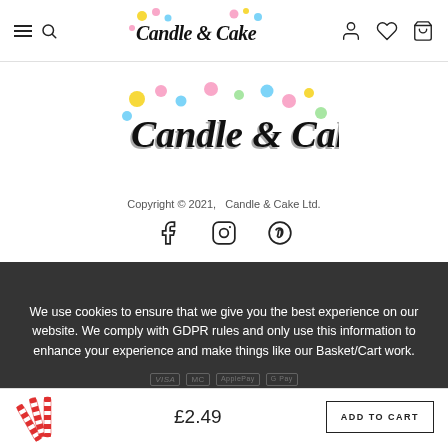Candle & Cake — navigation header with hamburger/search, logo, user/wishlist/cart icons
[Figure (logo): Candle & Cake logo with colorful dots, large version shown in center of page]
Copyright © 2021,  Candle & Cake Ltd.
[Figure (infographic): Social media icons: Facebook, Instagram, Pinterest]
We use cookies to ensure that we give you the best experience on our website. We comply with GDPR rules and only use this information to enhance your experience and make things like our Basket/Cart work.
PRIVACY POLICY   ACCEPT ✓
↑ TOP
£2.49
[Figure (photo): Red and white striped paper straws product thumbnail]
ADD TO CART